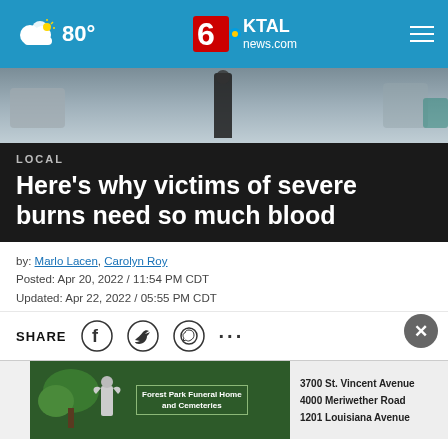6KTAL news.com  80°
[Figure (photo): Hospital or medical setting interior showing equipment and a person standing]
LOCAL
Here's why victims of severe burns need so much blood
by: Marlo Lacen, Carolyn Roy
Posted: Apr 20, 2022 / 11:54 PM CDT
Updated: Apr 22, 2022 / 05:55 PM CDT
SHARE
[Figure (infographic): Forest Park Funeral Home and Cemeteries advertisement banner with angel statue, 3700 St. Vincent Avenue, 4000 Meriwether Road, 1201 Louisiana Avenue]
SHREVEPORT, La. (KTAL/KMSS) – Hundreds have